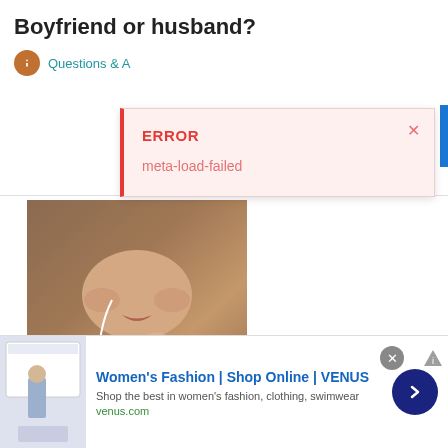Boyfriend or husband?
Questions & A
[Figure (screenshot): Error popup overlay showing 'ERROR' in bold red and 'meta-load-failed' in lighter red, on a pink-tinted background with a red left border and close X button]
[Figure (photo): Close-up photo of a young woman's face and upper chest, wearing a necklace with earphones, warm sepia-brown tones]
[Figure (screenshot): Advertisement banner for VENUS women's fashion with thumbnail showing a woman in white outfit, blue arrow button, and close button]